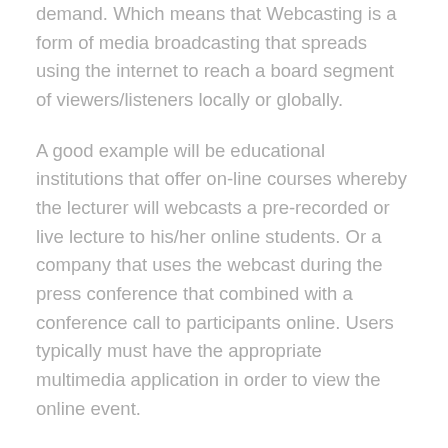demand. Which means that Webcasting is a form of media broadcasting that spreads using the internet to reach a board segment of viewers/listeners locally or globally.
A good example will be educational institutions that offer on-line courses whereby the lecturer will webcasts a pre-recorded or live lecture to his/her online students. Or a company that uses the webcast during the press conference that combined with a conference call to participants online. Users typically must have the appropriate multimedia application in order to view the online event.
Even though webcast is referred to non-interactive linear streams, the most event can be still broadcast either live to view immediately or viewers can opt for on-demand mode so they can watch anytime. The programme used for